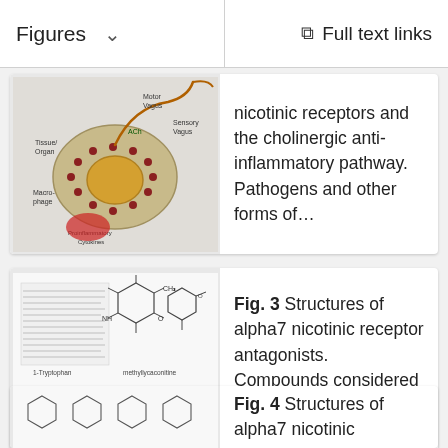Figures   ∨        Full text links
[Figure (illustration): Biological diagram showing nicotinic receptors and the cholinergic anti-inflammatory pathway with labels: Tissue/Organ, Motor Vagus, Sensory Vagus, ACh, Macrophage, Proinflammatory Cytokines]
nicotinic receptors and the cholinergic anti-inflammatory pathway. Pathogens and other forms of…
[Figure (illustration): Chemical structural diagrams of alpha7 nicotinic receptor antagonists showing molecular structures]
Fig. 3 Structures of alpha7 nicotinic receptor antagonists. Compounds considered to be the most selective…
[Figure (illustration): Chemical structural diagrams of alpha7 nicotinic receptor agonists]
Fig. 4 Structures of alpha7 nicotinic